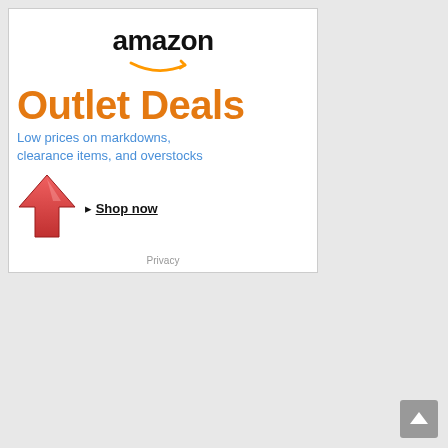[Figure (logo): Amazon logo with orange arrow/smile beneath text]
Outlet Deals
Low prices on markdowns, clearance items, and overstocks
[Figure (illustration): Red upward-pointing arrow icon]
▸ Shop now
Privacy